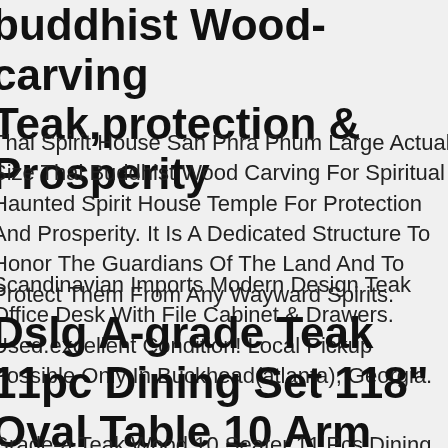Buddhist Wood-carving Teak,protection & Prosperity
Thai Spirit House San Phra Phum Large Actual Size Thai Buddhist Wood Carving For Spiritual Haunted Spirit House Temple For Protection And Prosperity. It Is A Dedicated Structure To Honor The Guardians Of The Land And To Protect Them From Any Wayward Spirits.
Scandinavian Imports Modern Design Teak Office Desk With File Cabinet & Drawers. Used.excellent Condition! Local Pickup Possible Only In Buckhead(atlanta), Georgia.
Dslg A-grade Teak 11pc Dining Set 118" Oval Table 10 Arm Chairs Outdoor Patio
Grade-a Teak Wood 10 Seater 11 Pcs Dining Set 118" Double Extension Oval Table And 10 Lagos Arm Chairs. Round Oval Patio Outdoor